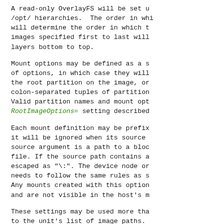A read-only OverlayFS will be set up for the /opt/ hierarchies. The order in which they will determine the order in which the images specified first to last will be placed as layers bottom to top.
Mount options may be defined as a single set of options, in which case they will apply to the root partition on the image, or as colon-separated tuples of partition names. Valid partition names and mount options are the RootImageOptions= setting described below.
Each mount definition may be prefixed with '-', it will be ignored when its source is missing. The source argument is a path to a block device node or file. If the source path contains a ':', it must be escaped as "\:". The device node or file needs to follow the same rules as specified. Any mounts created with this option are private and are not visible in the host's mount table.
These settings may be used more than once, to the unit's list of image paths. Once assigned, the entire list of mount